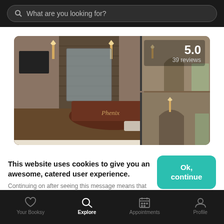What are you looking for?
[Figure (photo): Interior of Phenix salon showing reception desk with stone accent wall, wall sconces, hardwood floors, and an archway corridor with warm lighting. Rating overlay shows 5.0 with 39 reviews.]
5.0
39 reviews
This website uses cookies to give you an awesome, catered user experience.
Continuing on after seeing this message means that you're cool with that.
Ok, continue
Your Booksy   Explore   Appointments   Profile